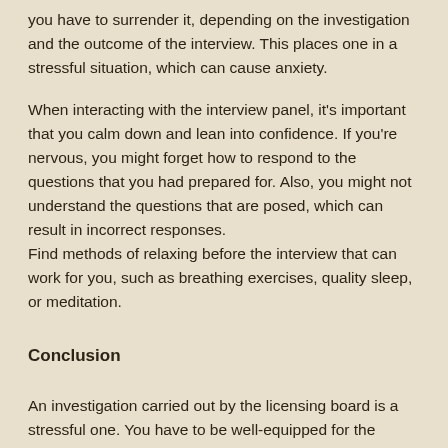you have to surrender it, depending on the investigation and the outcome of the interview. This places one in a stressful situation, which can cause anxiety.
When interacting with the interview panel, it's important that you calm down and lean into confidence. If you're nervous, you might forget how to respond to the questions that you had prepared for. Also, you might not understand the questions that are posed, which can result in incorrect responses.
Find methods of relaxing before the interview that can work for you, such as breathing exercises, quality sleep, or meditation.
Conclusion
An investigation carried out by the licensing board is a stressful one. You have to be well-equipped for the interviewing process for the best possible outcome regarding your license.